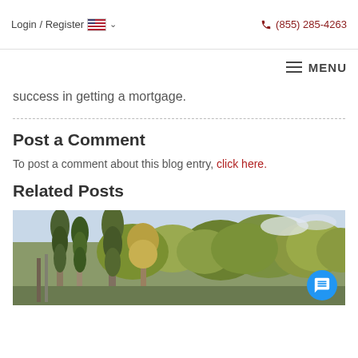Login / Register  🇺🇸 ▾   (855) 285-4263
MENU
success in getting a mortgage.
Post a Comment
To post a comment about this blog entry, click here.
Related Posts
[Figure (photo): Outdoor scene with tall trees including cypress and deciduous trees with green and golden foliage against a light sky]